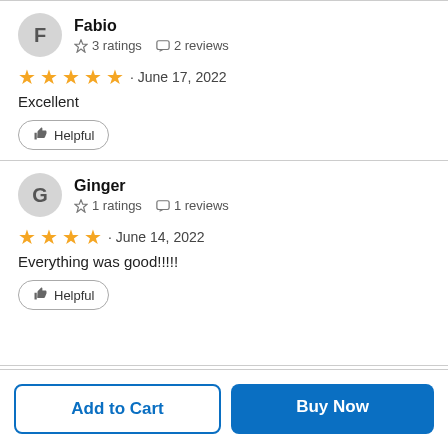Fabio · 3 ratings · 2 reviews · ★★★★★ · June 17, 2022 · Excellent · Helpful
Ginger · 1 ratings · 1 reviews · ★★★★☆ · June 14, 2022 · Everything was good!!!!! · Helpful
Add to Cart
Buy Now